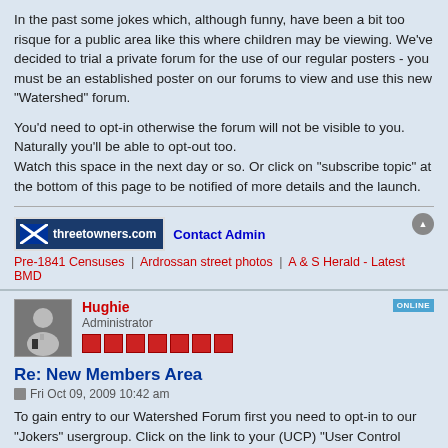In the past some jokes which, although funny, have been a bit too risque for a public area like this where children may be viewing. We've decided to trial a private forum for the use of our regular posters - you must be an established poster on our forums to view and use this new "Watershed" forum.
You'd need to opt-in otherwise the forum will not be visible to you.
Naturally you'll be able to opt-out too.
Watch this space in the next day or so. Or click on "subscribe topic" at the bottom of this page to be notified of more details and the launch.
[Figure (logo): threetowners.com logo with Scottish saltire flag, Contact Admin link, and links: Pre-1841 Censuses | Ardrossan street photos | A & S Herald - Latest BMD]
Hughie
Administrator
Re: New Members Area
Fri Oct 09, 2009 10:42 am
To gain entry to our Watershed Forum first you need to opt-in to our "Jokers" usergroup. Click on the link to your (UCP) "User Control Panel" at the top right under your user name on any page. Then click on "Usergroups", select "Jokers" and submit.